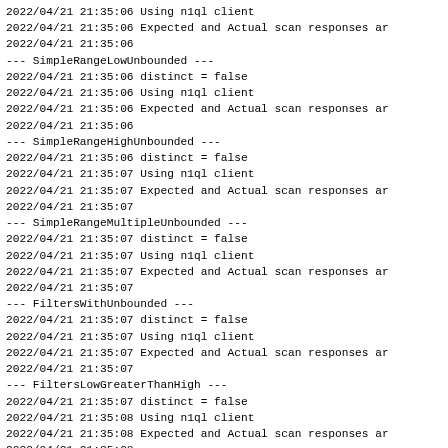2022/04/21 21:35:06 Using n1ql client
2022/04/21 21:35:06 Expected and Actual scan responses ar
2022/04/21 21:35:06
--- SimpleRangeLowUnbounded ---
2022/04/21 21:35:06 distinct = false
2022/04/21 21:35:06 Using n1ql client
2022/04/21 21:35:06 Expected and Actual scan responses ar
2022/04/21 21:35:06
--- SimpleRangeHighUnbounded ---
2022/04/21 21:35:06 distinct = false
2022/04/21 21:35:07 Using n1ql client
2022/04/21 21:35:07 Expected and Actual scan responses ar
2022/04/21 21:35:07
--- SimpleRangeMultipleUnbounded ---
2022/04/21 21:35:07 distinct = false
2022/04/21 21:35:07 Using n1ql client
2022/04/21 21:35:07 Expected and Actual scan responses ar
2022/04/21 21:35:07
--- FiltersWithUnbounded ---
2022/04/21 21:35:07 distinct = false
2022/04/21 21:35:07 Using n1ql client
2022/04/21 21:35:07 Expected and Actual scan responses ar
2022/04/21 21:35:07
--- FiltersLowGreaterThanHigh ---
2022/04/21 21:35:07 distinct = false
2022/04/21 21:35:08 Using n1ql client
2022/04/21 21:35:08 Expected and Actual scan responses ar
2022/04/21 21:35:08

-------- Simple Index with 1 field --------
2022/04/21 21:35:08